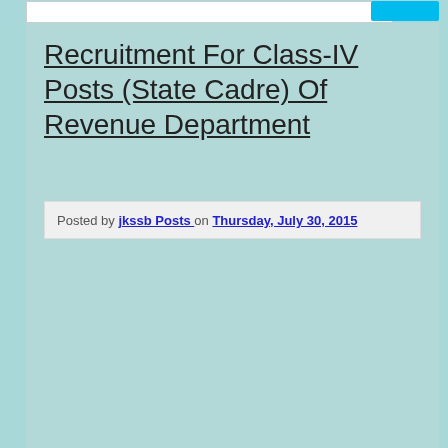Recruitment For Class-IV Posts (State Cadre) Of Revenue Department
Posted by jkssb Posts on Thursday, July 30, 2015